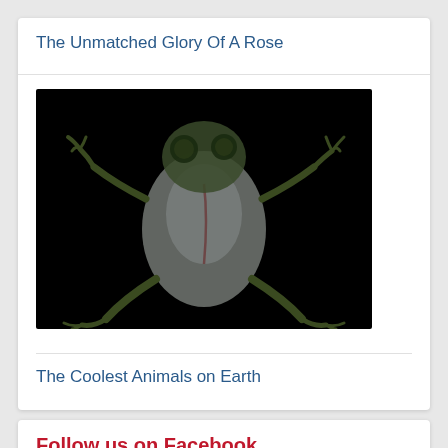The Unmatched Glory Of A Rose
[Figure (photo): Glass frog photographed from below against a black background, showing translucent body with visible internal organs]
The Coolest Animals on Earth
Follow us on Facebook